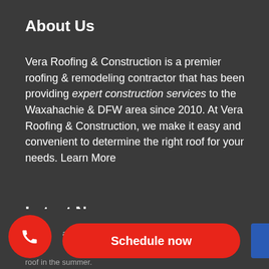About Us
Vera Roofing & Construction is a premier roofing & remodeling contractor that has been providing expert construction services to the Waxahachie & DFW area since 2010. At Vera Roofing & Construction, we make it easy and convenient to determine the right roof for your needs. Learn More
Latest News
[Figure (screenshot): Red phone button circle and red 'Schedule now' pill button at the bottom of the page, with partial text visible below]
roof in the summer.